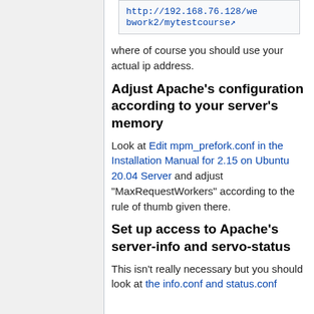[Figure (screenshot): Code box showing URL: http://192.168.76.128/webwork2/mytestcourse with external link icon]
where of course you should use your actual ip address.
Adjust Apache's configuration according to your server's memory
Look at Edit mpm_prefork.conf in the Installation Manual for 2.15 on Ubuntu 20.04 Server and adjust "MaxRequestWorkers" according to the rule of thumb given there.
Set up access to Apache's server-info and servo-status
This isn't really necessary but you should look at the info.conf and status.conf